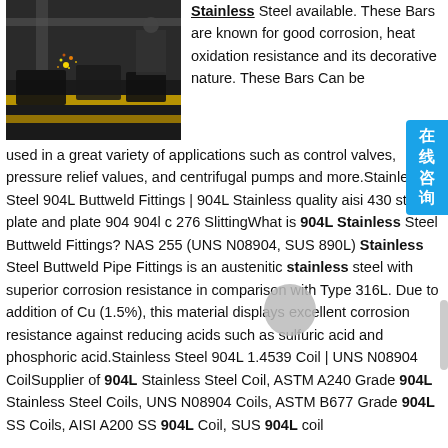[Figure (photo): Industrial steel manufacturing facility with sparks and yellow equipment]
Stainless Steel available. These Bars are known for good corrosion, heat oxidation resistance and its decorative nature. These Bars Can be used in a great variety of applications such as control valves, pressure relief values, and centrifugal pumps and more.Stainless Steel 904L Buttweld Fittings | 904L Stainless quality aisi 430 stainless plate and plate 904 904l c 276 SlittingWhat is 904L Stainless Steel Buttweld Fittings? NAS 255 (UNS N08904, SUS 890L) Stainless Steel Buttweld Pipe Fittings is an austenitic stainless steel with superior corrosion resistance in comparison with Type 316L. Due to addition of Cu (1.5%), this material displays excellent corrosion resistance against reducing acids such as sulfuric acid and phosphoric acid.Stainless Steel 904L 1.4539 Coil | UNS N08904 CoilSupplier of 904L Stainless Steel Coil, ASTM A240 Grade 904L Stainless Steel Coils, UNS N08904 Coils, ASTM B677 Grade 904L SS Coils, AISI A200 SS 904L Coil, SUS 904L coil
Manufacture Cold and Hot Rolled Stainless Steel Plate (201 quality aisi 430 stainless plate and plate 904 904l c 276